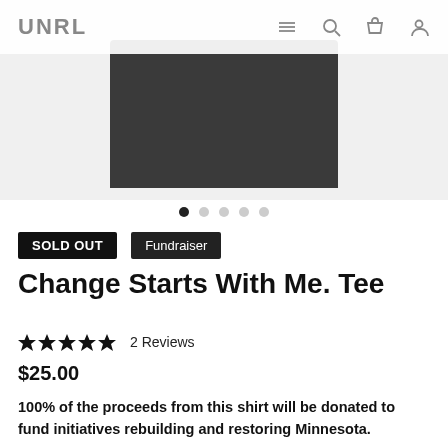UNRL
[Figure (photo): Dark grey/charcoal folded t-shirt on a light grey background]
SOLD OUT  Fundraiser
Change Starts With Me. Tee
★★★★★ 2 Reviews
$25.00
100% of the proceeds from this shirt will be donated to fund initiatives rebuilding and restoring Minnesota.